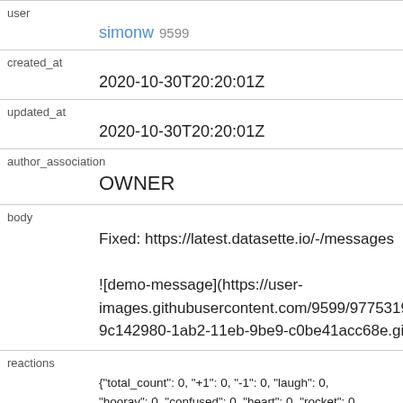| user | simonw 9599 |
| created_at | 2020-10-30T20:20:01Z |
| updated_at | 2020-10-30T20:20:01Z |
| author_association | OWNER |
| body | Fixed: https://latest.datasette.io/-/messages

![demo-message](https://user-images.githubusercontent.com/9599/97753199-9c142980-1ab2-11eb-9be9-c0be41acc68e.gif) |
| reactions | {"total_count": 0, "+1": 0, "-1": 0, "laugh": 0, "hooray": 0, "confused": 0, "heart": 0, "rocket": 0, "eyes": 0} |